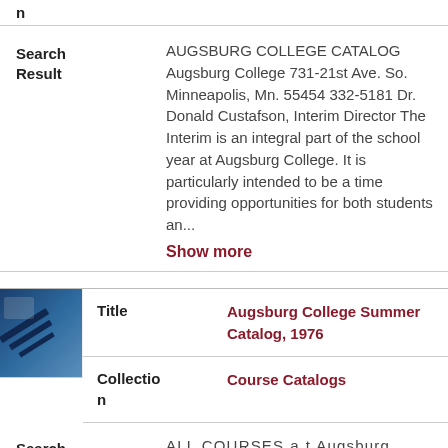n
|  |  |
| --- | --- |
| Search Result | AUGSBURG COLLEGE CATALOG Augsburg College 731-21st Ave. So. Minneapolis, Mn. 55454 332-5181 Dr. Donald Custafson, Interim Director The Interim is an integral part of the school year at Augsburg College. It is particularly intended to be a time providing opportunities for both students an... Show more |
|  |  |
| --- | --- |
| Title | Augsburg College Summer Catalog, 1976 |
| Collection | Course Catalogs |
| Search Result | ALL COURSES a t Augsburg College c a r r y a v a l u e of one Course C r e d i t , t h e e q u i v a l e n t o f s i x q u a r t e r c r e d i t s o r f o u r s e |